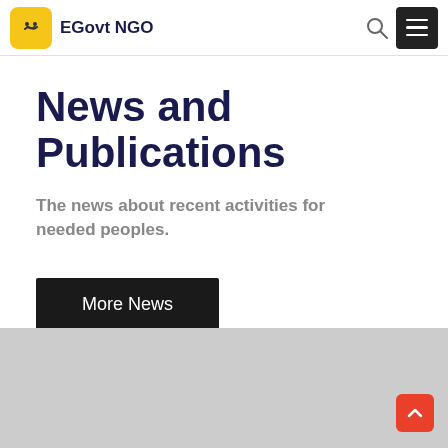EGovt NGO
News and Publications
The news about recent activities for needed peoples.
More News
[Figure (photo): Gray placeholder image at the bottom of the page]